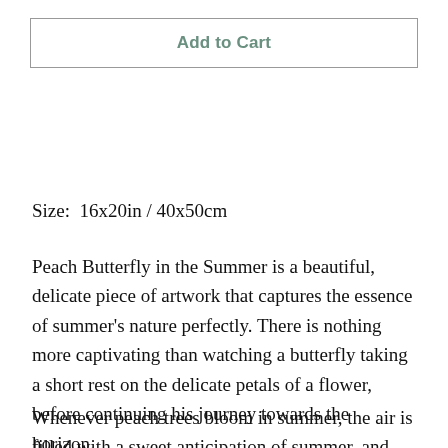Add to Cart
Size:  16x20in / 40x50cm
Peach Butterfly in the Summer is a beautiful, delicate piece of artwork that captures the essence of summer’s nature perfectly. There is nothing more captivating than watching a butterfly taking a short rest on the delicate petals of a flower, before continuing his journey towards the horizon.
Whenever peach trees bloom in summer, the air is filled with a sweet anticipation of summer, and this